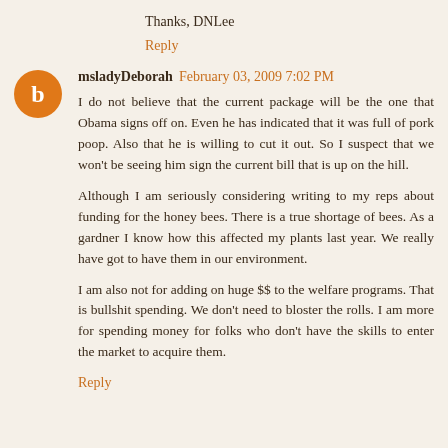Thanks, DNLee
Reply
msladyDeborah  February 03, 2009 7:02 PM
I do not believe that the current package will be the one that Obama signs off on. Even he has indicated that it was full of pork poop. Also that he is willing to cut it out. So I suspect that we won't be seeing him sign the current bill that is up on the hill.

Although I am seriously considering writing to my reps about funding for the honey bees. There is a true shortage of bees. As a gardner I know how this affected my plants last year. We really have got to have them in our environment.

I am also not for adding on huge $$ to the welfare programs. That is bullshit spending. We don't need to bloster the rolls. I am more for spending money for folks who don't have the skills to enter the market to acquire them.
Reply